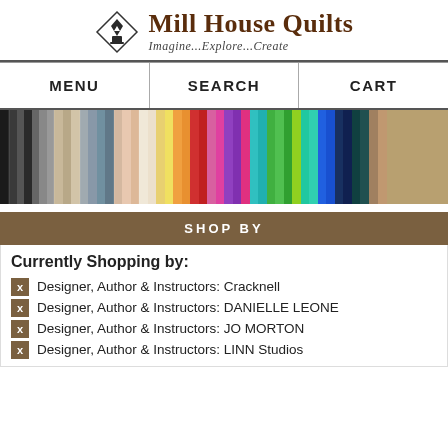[Figure (logo): Mill House Quilts logo with diamond/quilt block icon, serif title text 'Mill House Quilts' and italic tagline 'Imagine...Explore...Create']
| MENU | SEARCH | CART |
| --- | --- | --- |
[Figure (photo): Row of colorful rolled fabric bolts arranged by color from dark/neutral on left to bright rainbow colors on right]
SHOP BY
Currently Shopping by:
Designer, Author & Instructors: Cracknell
Designer, Author & Instructors: DANIELLE LEONE
Designer, Author & Instructors: JO MORTON
Designer, Author & Instructors: LINN Studios